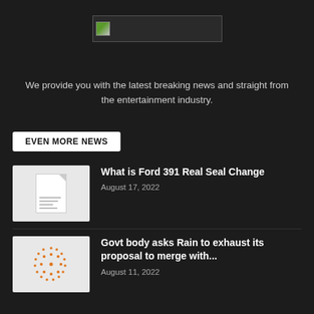[Figure (logo): Website logo image placeholder with small green icon in a dark bordered rectangle]
We provide you with the latest breaking news and straight from the entertainment industry.
EVEN MORE NEWS
[Figure (illustration): Placeholder document thumbnail image with lines]
What is Ford 391 Real Seal Change
August 17, 2022
[Figure (illustration): Orange dotted circular logo/icon thumbnail]
Govt body asks Rain to exhaust its proposal to merge with...
August 11, 2022